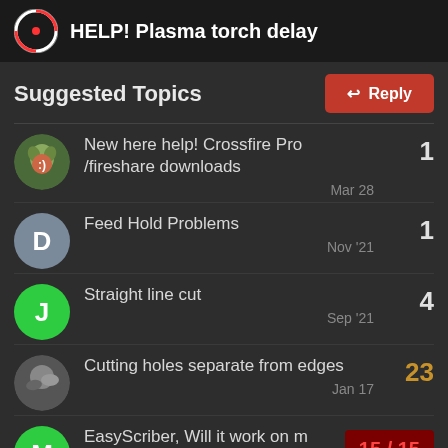HELP! Plasma torch delay
Suggested Topics
New here help! Crossfire Pro /fireshare downloads — 1 — Mar 28
Feed Hold Problems — 1 — Nov '21
Straight line cut — 4 — Sep '21
Cutting holes separate from edges — 23 — Jan 17
EasyScriber, Will it work on m Primeweld Machine torch? — 15 / 15